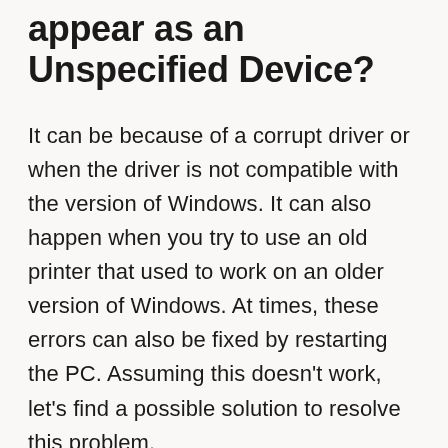appear as an Unspecified Device?
It can be because of a corrupt driver or when the driver is not compatible with the version of Windows. It can also happen when you try to use an old printer that used to work on an older version of Windows. At times, these errors can also be fixed by restarting the PC. Assuming this doesn't work, let's find a possible solution to resolve this problem.
Printer showing as Unspecified device on